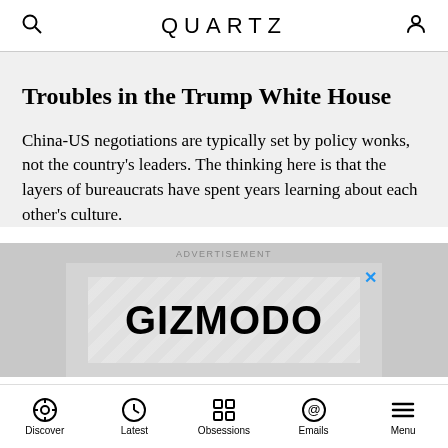QUARTZ
Troubles in the Trump White House
China-US negotiations are typically set by policy wonks, not the country's leaders. The thinking here is that the layers of bureaucrats have spent years learning about each other's culture.
ADVERTISEMENT
[Figure (other): Advertisement banner showing GIZMODO logo on grey background with close button]
Discover  Latest  Obsessions  Emails  Menu